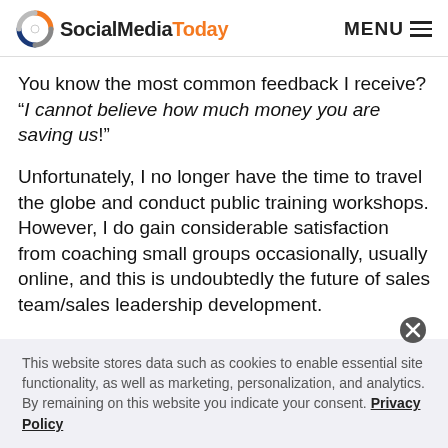SocialMediaToday  MENU
You know the most common feedback I receive? “I cannot believe how much money you are saving us!”
Unfortunately, I no longer have the time to travel the globe and conduct public training workshops. However, I do gain considerable satisfaction from coaching small groups occasionally, usually online, and this is undoubtedly the future of sales team/sales leadership development.
This website stores data such as cookies to enable essential site functionality, as well as marketing, personalization, and analytics. By remaining on this website you indicate your consent. Privacy Policy